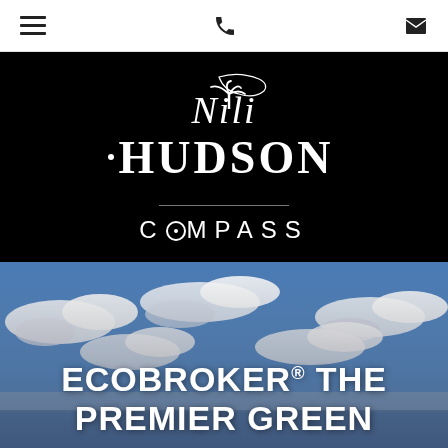Navigation bar with hamburger menu, phone icon, and email icon
[Figure (logo): Nili Hudson Compass real estate logo — white script 'Nili' with italic cursive over bold serif 'HUDSON', palm tree icon, on black background, with 'COMPASS' text and a compass-O logo below a horizontal divider line]
[Figure (photo): Sky with scattered white clouds over a coastal horizon, blue sky background, hero background image]
ECOBROKER® THE PREMIER GREEN